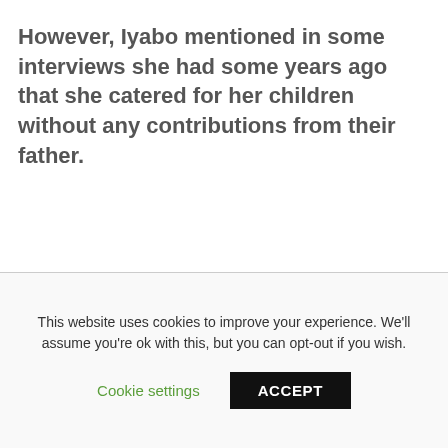However, Iyabo mentioned in some interviews she had some years ago that she catered for her children without any contributions from their father.
This website uses cookies to improve your experience. We'll assume you're ok with this, but you can opt-out if you wish.
Cookie settings
ACCEPT